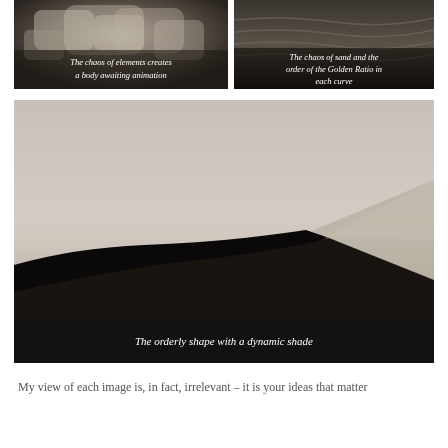[Figure (photo): Black and white close-up photo of rocky/stone elements with caption overlay: 'The chaos of elements creates a body awaiting animation']
[Figure (photo): Black and white photo of sand dunes with ribbed textures and caption overlay: 'The chaos of sand and the order of the Golden Ratio in each curve']
[Figure (photo): Large black and white photo of a dramatic sand dune with sharp shadow ridge and caption overlay: 'The orderly shape with a dynamic shade']
My view of each image is, in fact, irrelevant – it is your ideas that matter